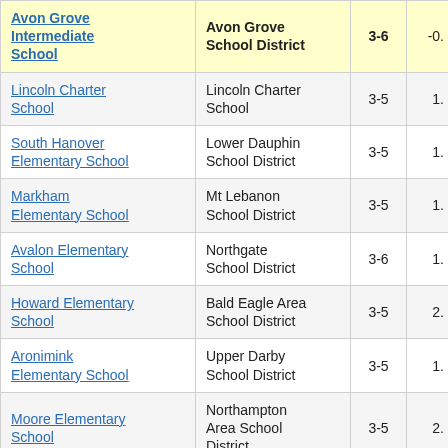| School | District | Grades | Value |
| --- | --- | --- | --- |
| Avon Grove Intermediate School | Avon Grove School District | 3-6 | -0. |
| Lincoln Charter School | Lincoln Charter School | 3-5 | 1. |
| South Hanover Elementary School | Lower Dauphin School District | 3-5 | 1. |
| Markham Elementary School | Mt Lebanon School District | 3-5 | 1. |
| Avalon Elementary School | Northgate School District | 3-6 | 1. |
| Howard Elementary School | Bald Eagle Area School District | 3-5 | 2. |
| Aronimink Elementary School | Upper Darby School District | 3-5 | 1. |
| Moore Elementary School | Northampton Area School District | 3-5 | 2. |